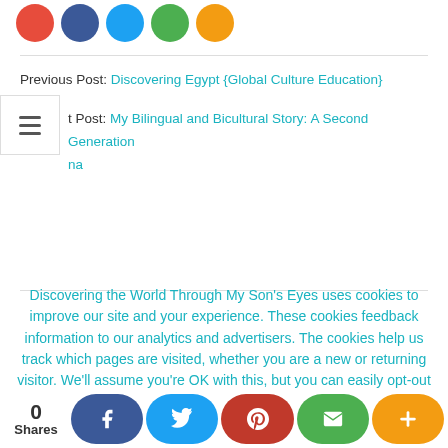[Figure (other): Row of 5 social sharing circle icons: red, blue, teal, green, orange]
Previous Post: Discovering Egypt {Global Culture Education}
Next Post: My Bilingual and Bicultural Story: A Second Generation ...na
Discovering the World Through My Son's Eyes uses cookies to improve our site and your experience. These cookies feedback information to our analytics and advertisers. The cookies help us track which pages are visited, whether you are a new or returning visitor. We'll assume you're OK with this, but you can easily opt-out if you wish. Click the READ MORE button to see how to do this
[Figure (other): Bottom share bar with 0 Shares count and social buttons: Facebook, Twitter, Pinterest, Email, Plus]